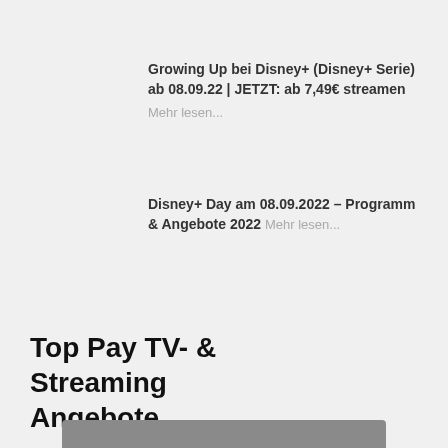Growing Up bei Disney+ (Disney+ Serie) ab 08.09.22 | JETZT: ab 7,49€ streamen
Mehr lesen...
Disney+ Day am 08.09.2022 – Programm & Angebote 2022 Mehr lesen...
Top Pay TV- & Streaming Angebote